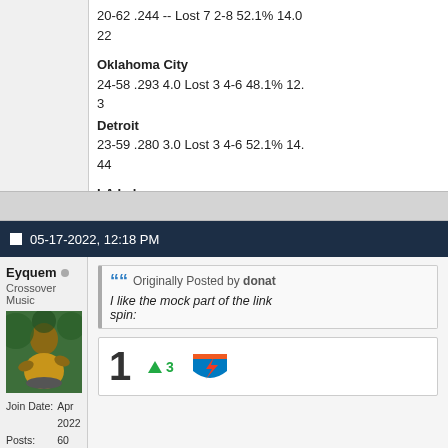20-62 .244 -- Lost 7 2-8 52.1% 14.0
22
Oklahoma City
24-58 .293 4.0 Lost 3 4-6 48.1% 12.
3
Detroit
23-59 .280 3.0 Lost 3 4-6 52.1% 14.
44
LA Lakers
NO 33-49 .402 13.0 Won 2 2-8 26.3
05-17-2022, 12:18 PM
Eyquem
Crossover Music
[Figure (photo): Avatar photo of a musician playing drums]
Join Date: Apr 2022
Posts: 60
Originally Posted by donat
I like the mock part of the link spin:
1  ↑3  [OKC Thunder logo]